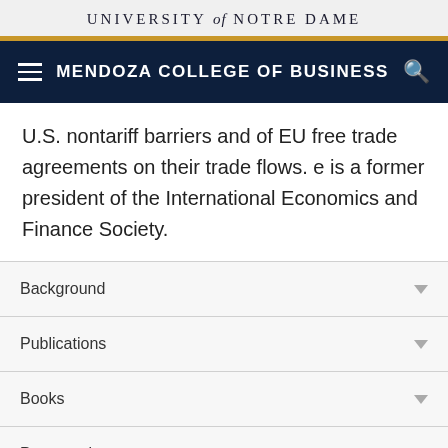UNIVERSITY of NOTRE DAME
MENDOZA COLLEGE OF BUSINESS
U.S. nontariff barriers and of EU free trade agreements on their trade flows. e is a former president of the International Economics and Finance Society.
Background
Publications
Books
Presentations